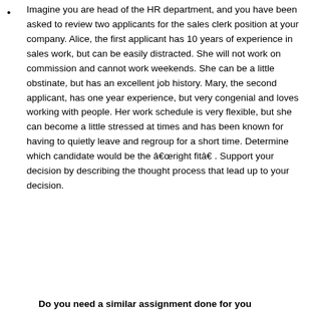Imagine you are head of the HR department, and you have been asked to review two applicants for the sales clerk position at your company. Alice, the first applicant has 10 years of experience in sales work, but can be easily distracted. She will not work on commission and cannot work weekends. She can be a little obstinate, but has an excellent job history. Mary, the second applicant, has one year experience, but very congenial and loves working with people. Her work schedule is very flexible, but she can become a little stressed at times and has been known for having to quietly leave and regroup for a short time. Determine which candidate would be the â€œright fitâ€. Support your decision by describing the thought process that lead up to your decision.
Do you need a similar assignment done for you